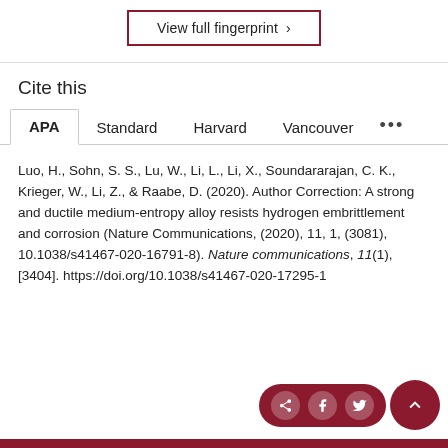View full fingerprint >
Cite this
APA  Standard  Harvard  Vancouver  ...
Luo, H., Sohn, S. S., Lu, W., Li, L., Li, X., Soundararajan, C. K., Krieger, W., Li, Z., & Raabe, D. (2020). Author Correction: A strong and ductile medium-entropy alloy resists hydrogen embrittlement and corrosion (Nature Communications, (2020), 11, 1, (3081), 10.1038/s41467-020-16791-8). Nature communications, 11(1), [3404]. https://doi.org/10.1038/s41467-020-17295-1